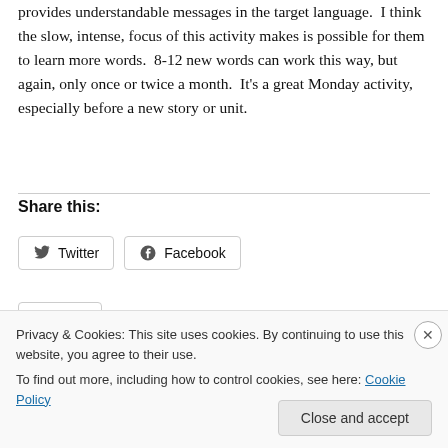provides understandable messages in the target language.  I think the slow, intense, focus of this activity makes is possible for them to learn more words.  8-12 new words can work this way, but again, only once or twice a month.  It's a great Monday activity, especially before a new story or unit.
Share this:
[Figure (screenshot): Social share buttons: Twitter and Facebook]
Privacy & Cookies: This site uses cookies. By continuing to use this website, you agree to their use.
To find out more, including how to control cookies, see here: Cookie Policy
Close and accept